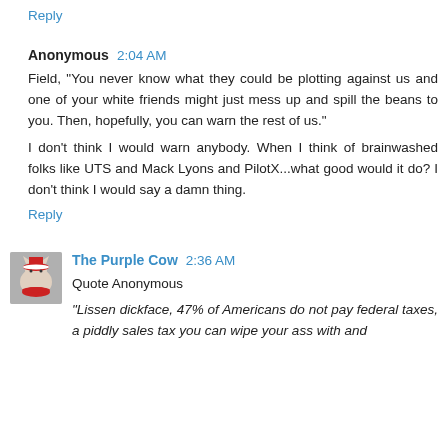Reply
Anonymous 2:04 AM
Field, "You never know what they could be plotting against us and one of your white friends might just mess up and spill the beans to you. Then, hopefully, you can warn the rest of us."
I don't think I would warn anybody. When I think of brainwashed folks like UTS and Mack Lyons and PilotX...what good would it do? I don't think I would say a damn thing.
Reply
The Purple Cow 2:36 AM
Quote Anonymous
"Lissen dickface, 47% of Americans do not pay federal taxes, a piddly sales tax you can wipe your ass with and